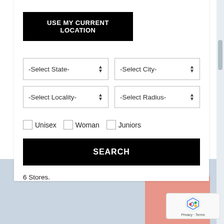USE MY CURRENT LOCATION
-Select State-
-Select City-
-Select Locality-
-Select Radius-
Unisex
Woman
Juniors
SEARCH
6 Stores.
Privacy · Terms